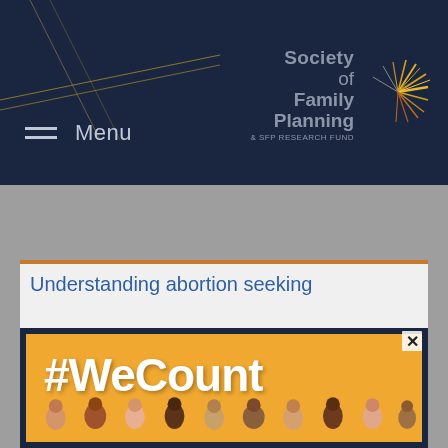[Figure (logo): Society of Family Planning & SFP Research Fund logo with starburst graphic on dark navy background]
Menu
Understanding abortion seeking
[Figure (illustration): #WeCount campaign overlay with orange background, dark navy border, white bold text reading #WeCount, and illustrated people at the bottom. Close button (x) in top right corner.]